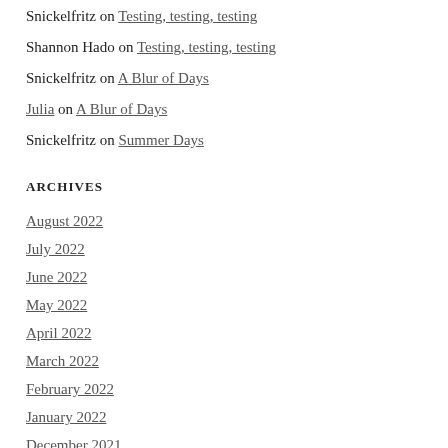Snickelfritz on Testing, testing, testing
Shannon Hado on Testing, testing, testing
Snickelfritz on A Blur of Days
Julia on A Blur of Days
Snickelfritz on Summer Days
ARCHIVES
August 2022
July 2022
June 2022
May 2022
April 2022
March 2022
February 2022
January 2022
December 2021
November 2021